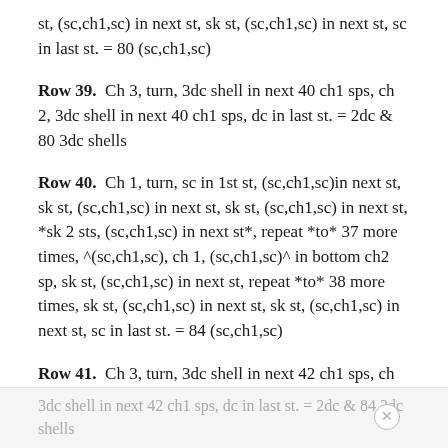st, (sc,ch1,sc) in next st, sk st, (sc,ch1,sc) in next st, sc in last st. = 80 (sc,ch1,sc)
Row 39. Ch 3, turn, 3dc shell in next 40 ch1 sps, ch 2, 3dc shell in next 40 ch1 sps, dc in last st. = 2dc & 80 3dc shells
Row 40. Ch 1, turn, sc in 1st st, (sc,ch1,sc)in next st, sk st, (sc,ch1,sc) in next st, sk st, (sc,ch1,sc) in next st, *sk 2 sts, (sc,ch1,sc) in next st*, repeat *to* 37 more times, ^(sc,ch1,sc), ch 1, (sc,ch1,sc)^ in bottom ch2 sp, sk st, (sc,ch1,sc) in next st, repeat *to* 38 more times, sk st, (sc,ch1,sc) in next st, sk st, (sc,ch1,sc) in next st, sc in last st. = 84 (sc,ch1,sc)
Row 41. Ch 3, turn, 3dc shell in next 42 ch1 sps, ch 2, 3dc shell in next 42 ch1 sps, dc in last st. = 2dc & 84 3dc shells